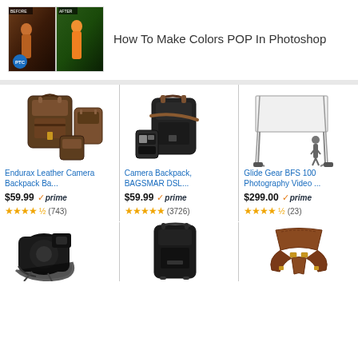[Figure (screenshot): Thumbnail image showing before/after Photoshop color edit of a woman in orange dress]
How To Make Colors POP In Photoshop
[Figure (screenshot): Endurax Leather Camera Backpack product image]
Endurax Leather Camera Backpack Ba...
$59.99 prime (743)
[Figure (screenshot): Camera Backpack BAGSMAR DSL product image]
Camera Backpack, BAGSMAR DSL...
$59.99 prime (3726)
[Figure (screenshot): Glide Gear BFS 100 Photography Video product image]
Glide Gear BFS 100 Photography Video ...
$299.00 prime (23)
[Figure (photo): Camera rain cover accessory]
[Figure (photo): Black camera backpack]
[Figure (photo): Brown leather camera harness strap]